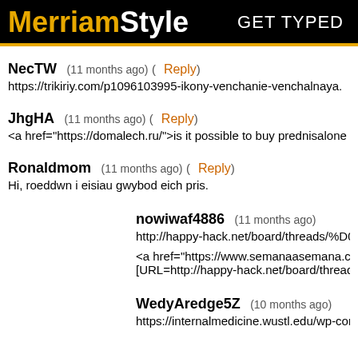MerriamStyle GET TYPED
NecTW  (11 months ago)  (Reply)
https://trikiriy.com/p1096103995-ikony-venchanie-venchalnaya.
JhgHA  (11 months ago)  (Reply)
<a href="https://domalech.ru/">is it possible to buy prednisalone
Ronaldmom  (11 months ago)  (Reply)
Hi, roeddwn i eisiau gwybod eich pris.
nowiwaf4886  (11 months ago)
http://happy-hack.net/board/threads/%D0%AD%D1%

<a href="https://www.semanaasemana.com.br/forum
[URL=http://happy-hack.net/board/threads/%D0%AD
WedyAredge5Z  (10 months ago)
https://internalmedicine.wustl.edu/wp-content/upload